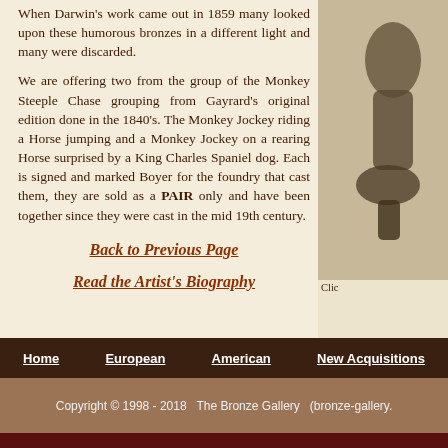When Darwin's work came out in 1859 many looked upon these humorous bronzes in a different light and many were discarded.
We are offering two from the group of the Monkey Steeple Chase grouping from Gayrard's original edition done in the 1840's. The Monkey Jockey riding a Horse jumping and a Monkey Jockey on a rearing Horse surprised by a King Charles Spaniel dog. Each is signed and marked Boyer for the foundry that cast them, they are sold as a PAIR only and have been together since they were cast in the mid 19th century.
[Figure (photo): Partial view of a bronze sculpture on the right side; truncated. Below it reads 'Clic']
Back to Previous Page
Read the Artist's Biography
Home   European   American   New Acquisitions
Copyright © 1998 - 2018   The Bronze Gallery   (bronze-gallery.